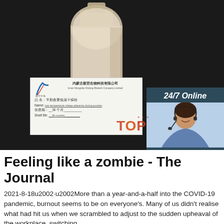[Figure (photo): Product photo showing a bottle of liquid (milk-like substance) on a dark background with a product label card from Inner Mongolia Xinlong Biotech Company Limited showing the product name as low temperature sheep placenta drying powder, shelf life 36 months. A customer service chat widget appears on the right showing a woman with headset, '24/7 Online', 'Click here for free chat!', and an orange QUOTATION button. A red 'TOP' watermark is partially visible.]
Feeling like a zombie - The Journal
2021-8-18u2002·u2002More than a year-and-a-half into the COVID-19 pandemic, burnout seems to be on everyone's. Many of us didn't realise what had hit us when we scrambled to adjust to the sudden upheaval of the workplace, switching